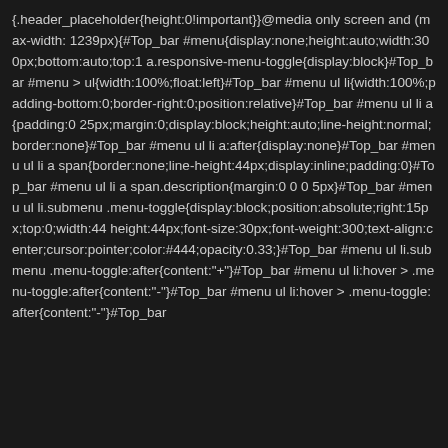{.header_placeholder{height:0!important}}@media only screen and (max-width: 1239px){#Top_bar #menu{display:none;height:auto;width:300px;bottom:auto;top:1 a.responsive-menu-toggle{display:block}#Top_bar #menu > ul{width:100%;float:left}#Top_bar #menu ul li{width:100%;padding-bottom:0;border-right:0;position:relative}#Top_bar #menu ul li a{padding:0 25px;margin:0;display:block;height:auto;line-height:normal;border:none}#Top_bar #menu ul li a:after{display:none}#Top_bar #menu ul li a span{border:none;line-height:44px;display:inline;padding:0}#Top_bar #menu ul li a span.description{margin:0 0 0 5px}#Top_bar #menu ul li.submenu .menu-toggle{display:block;position:absolute;right:15px;top:0;width:44 height:44px;font-size:30px;font-weight:300;text-align:center;cursor:pointer;color:#444;opacity:0.33;}#Top_bar #menu ul li.submenu .menu-toggle:after{content:"+"}#Top_bar #menu ul li:hover > .menu-toggle:after{content:"-"}#Top_bar